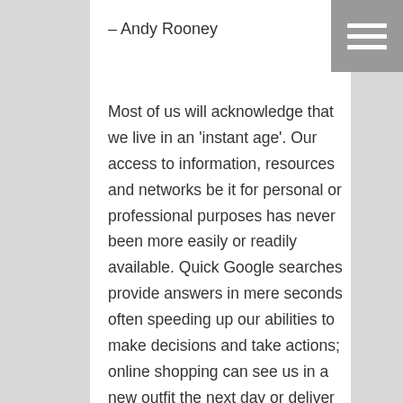– Andy Rooney
Most of us will acknowledge that we live in an ‘instant age’. Our access to information, resources and networks be it for personal or professional purposes has never been more easily or readily available. Quick Google searches provide answers in mere seconds often speeding up our abilities to make decisions and take actions; online shopping can see us in a new outfit the next day or deliver us dinner faster than we can cook it; and with the click of a button we can now connect and engage with community forums anywhere in the world on any topic we like.